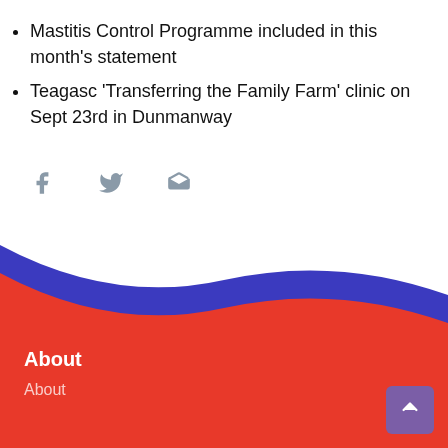Mastitis Control Programme included in this month's statement
Teagasc 'Transferring the Family Farm' clinic on Sept 23rd in Dunmanway
[Figure (illustration): Social share icons: Facebook, Twitter, Email]
[Figure (illustration): Decorative wave background with blue and red bands forming the page footer]
About
About